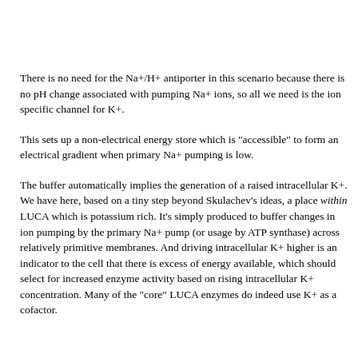There is no need for the Na+/H+ antiporter in this scenario because there is no pH change associated with pumping Na+ ions, so all we need is the ion specific channel for K+.
This sets up a non-electrical energy store which is "accessible" to form an electrical gradient when primary Na+ pumping is low.
The buffer automatically implies the generation of a raised intracellular K+. We have here, based on a tiny step beyond Skulachev's ideas, a place within LUCA which is potassium rich. It's simply produced to buffer changes in ion pumping by the primary Na+ pump (or usage by ATP synthase) across relatively primitive membranes. And driving intracellular K+ higher is an indicator to the cell that there is excess of energy available, which should select for increased enzyme activity based on rising intracellular K+ concentration. Many of the "core" LUCA enzymes do indeed use K+ as a cofactor.